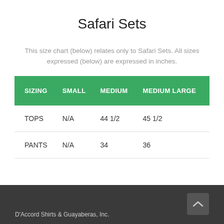Safari Sets
This size chart (below) relates only to Safari Sets. All sizes expressed (below) are expressed in inches.
| SIZING | SMALL | MEDIUM | MEDIUM LARGE |
| --- | --- | --- | --- |
| TOPS | N/A | 44 1/2 | 45 1/2 |
| PANTS | N/A | 34 | 36 |
D'Accord Shirts & Guayaberas, Inc.